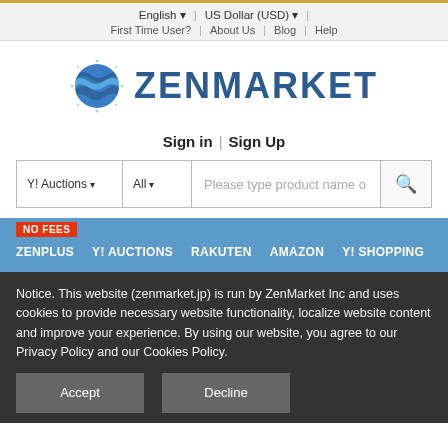English | US Dollar (USD) | First Time User? | About Us | Blog | Help
[Figure (logo): ZenMarket logo — globe icon with blue wave stripes and ZENMARKET text in dark blue]
Sign in | Sign Up
Y! Auctions  All  Please type product name or URL
NO FEES  ZENPLUS  Y! AUCTIONS  RAKUTEN  AMAZON  Y! SHOPPING
Notice. This website (zenmarket.jp) is run by ZenMarket Inc and uses cookies to provide necessary website functionality, localize website content and improve your experience. By using our website, you agree to our Privacy Policy and our Cookies Policy.
Accept   Decline